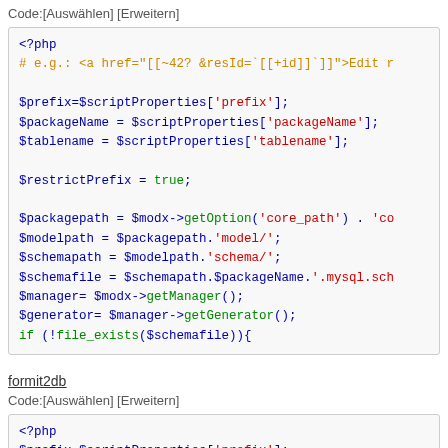Code:[Auswählen] [Erweitern]
[Figure (screenshot): PHP code block showing script snippet with $prefix, $packageName, $tablename, $restrictPrefix, $packagepath, $modelpath, $schemapath, $schemafile, $manager, $generator, and if (!file_exists) statement]
formit2db
Code:[Auswählen] [Erweitern]
[Figure (screenshot): PHP code block beginning with <?php and $prefix=$scriptProperties['prefix']; and a third line partially visible]